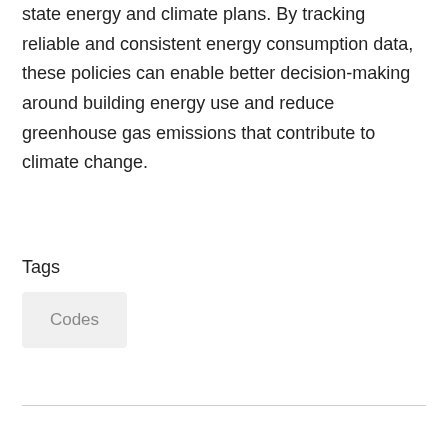state energy and climate plans. By tracking reliable and consistent energy consumption data, these policies can enable better decision-making around building energy use and reduce greenhouse gas emissions that contribute to climate change.
Tags
Codes